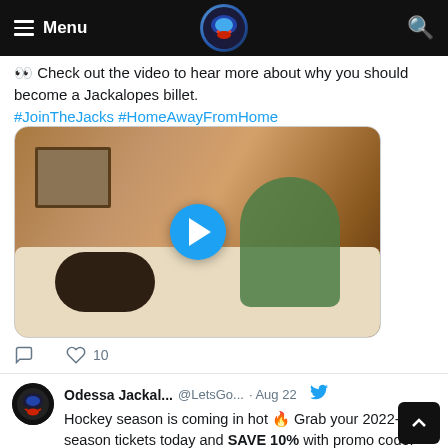Menu [logo] [search]
👀 Check out the video to hear more about why you should become a Jackalopes billet. #JoinTheJacks #HomeAwayFromHome
[Figure (screenshot): Video thumbnail showing a woman on a couch with a dark dog, with a blue play button overlay]
💬  ♡ 10
Odessa Jackal... @LetsGo... · Aug 22  Hockey season is coming in hot 🔥 Grab your 2022-23 season tickets today and SAVE 10% with promo code: PACKTHESHACK  Visit jackalopes.org or call 432-550-7005 to